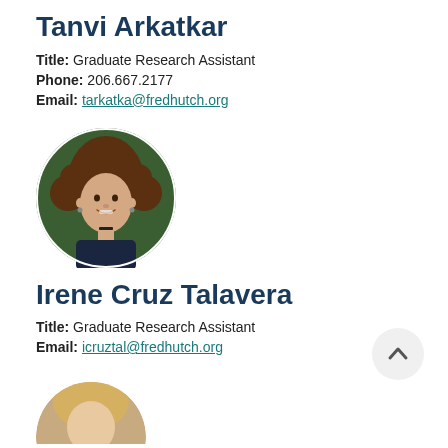Tanvi Arkatkar
Title: Graduate Research Assistant
Phone: 206.667.2177
Email: tarkatka@fredhutch.org
[Figure (photo): Circular headshot of Irene Cruz Talavera, a young woman with curly brown hair, smiling, outdoors with green foliage background.]
Irene Cruz Talavera
Title: Graduate Research Assistant
Email: icruztal@fredhutch.org
[Figure (photo): Partial circular headshot of a third person at the bottom of the page, cropped.]